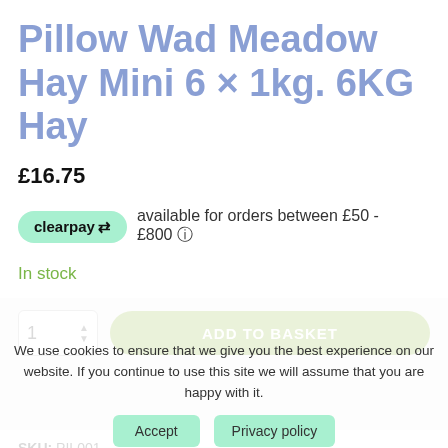Pillow Wad Meadow Hay Mini 6 x 1kg. 6KG Hay
£16.75
clearpay available for orders between £50 - £800 ℹ
In stock
We use cookies to ensure that we give you the best experience on our website. If you continue to use this site we will assume that you are happy with it.
SKU: PIL001
Category: Other Rabbit and Guinea Pig Products